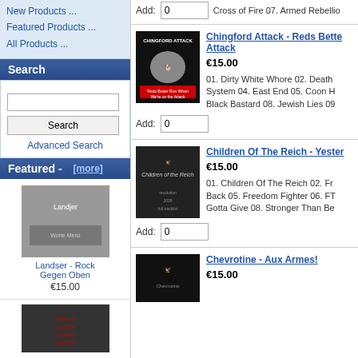New Products ...
Featured Products ...
All Products ...
Search
Search
Advanced Search
Featured - [more]
[Figure (photo): Landser - Rock Gegen Oben album cover]
Landser - Rock Gegen Oben
€15.00
[Figure (photo): Album cover (cut off at bottom)]
Add: 0
Cross of Fire 07. Armed Rebellio
[Figure (photo): Chingford Attack - Reds Better Run album cover with bulldog]
Chingford Attack - Reds Better Attack
€15.00
01. Dirty White Whore 02. Death System 04. East End 05. Coon H Black Bastard 08. Jewish Lies 09
Add: 0
[Figure (photo): Children Of The Reich album cover with eagle]
Children Of The Reich - Yester
€15.00
01. Children Of The Reich 02. Fr Back 05. Freedom Fighter 06. FT Gotta Give 08. Stronger Than Be
Add: 0
Chevrotine - Aux Armes!
€15.00
[Figure (photo): Chevrotine - Aux Armes! album cover]